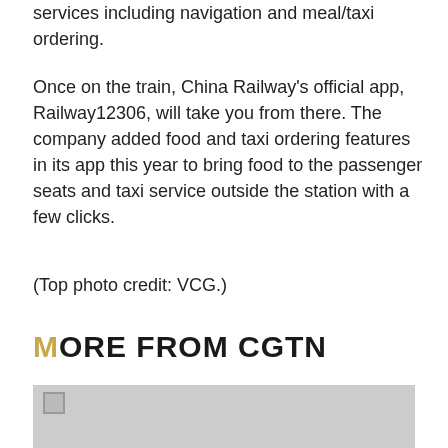services including navigation and meal/taxi ordering.
Once on the train, China Railway’s official app, Railway12306, will take you from there. The company added food and taxi ordering features in its app this year to bring food to the passenger seats and taxi service outside the station with a few clicks.
(Top photo credit: VCG.)
MORE FROM CGTN
[Figure (photo): Image placeholder with light grey background]